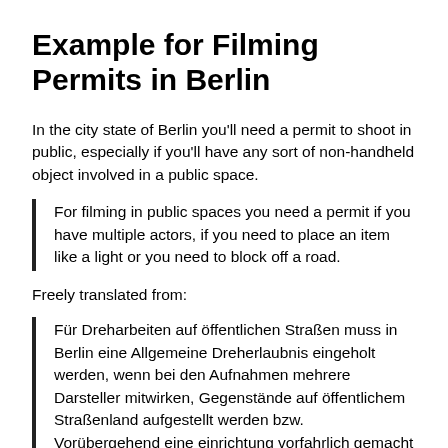Example for Filming Permits in Berlin
In the city state of Berlin you'll need a permit to shoot in public, especially if you'll have any sort of non-handheld object involved in a public space.
For filming in public spaces you need a permit if you have multiple actors, if you need to place an item like a light or you need to block off a road.
Freely translated from:
Für Dreharbeiten auf öffentlichen Straßen muss in Berlin eine Allgemeine Dreherlaubnis eingeholt werden, wenn bei den Aufnahmen mehrere Darsteller mitwirken, Gegenstände auf öffentlichem Straßenland aufgestellt werden bzw. Vorübergehend eine einrichtung vorfahrlich gemacht werden